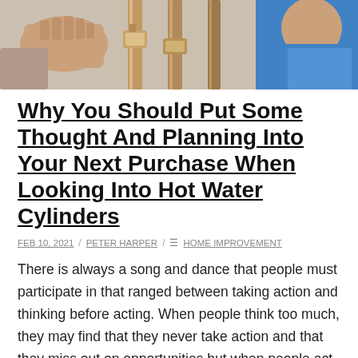[Figure (photo): Photo of a person's hands working on plumbing pipes, with another person in a blue shirt visible in the background]
Why You Should Put Some Thought And Planning Into Your Next Purchase When Looking Into Hot Water Cylinders
FEB 10, 2021 / PETER HARPER / HOME IMPROVEMENT
There is always a song and dance that people must participate in that ranged between taking action and thinking before acting. When people think too much, they may find that they never take action and that they miss out on opportunities but when people act too brashly, then they